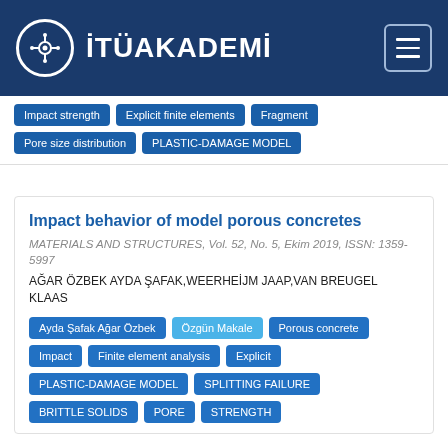İTÜAKADEMİ
Impact strength | Explicit finite elements | Fragment
Pore size distribution | PLASTIC-DAMAGE MODEL
Impact behavior of model porous concretes
MATERIALS AND STRUCTURES, Vol. 52, No. 5, Ekim 2019, ISSN: 1359-5997
AĞAR ÖZBEK AYDA ŞAFAK,WEERHEİJM JAAP,VAN BREUGEL KLAAS
Ayda Şafak Ağar Özbek | Özgün Makale | Porous concrete
Impact | Finite element analysis | Explicit
PLASTIC-DAMAGE MODEL | SPLITTING FAILURE
BRITTLE SOLIDS | PORE | STRENGTH